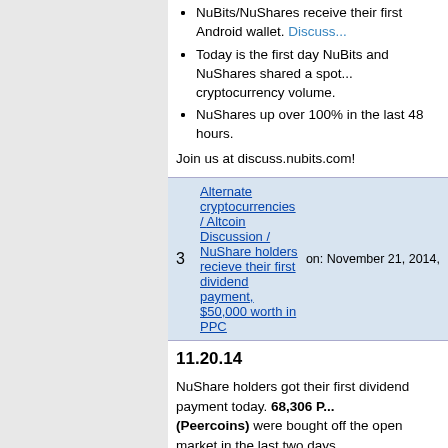NuBits/NuShares receive their first Android wallet. Discuss...
Today is the first day NuBits and NuShares shared a spot... cryptocurrency volume.
NuShares up over 100% in the last 48 hours.
Join us at discuss.nubits.com!
| # | Topic | Date |
| --- | --- | --- |
| 3 | Alternate cryptocurrencies / Altcoin Discussion / NuShare holders recieve their first dividend payment, $50,000 worth in PPC | on: November 21, 2014, |
11.20.14
NuShare holders got their first dividend payment today. 68,306 P... (Peercoins) were bought off the open market in the last two days... distributed to shareholders. If you held NuShares for at least 36 h... before it went out, you have either received your dividend or can... by following this guide.
- Link to announcement
- Overview of KTm's proposal
The Nu network launched on September 23rd, 2014. NuShares a... currently traded at Bter and CCEDK exchanges. More informatio... found at NuBits.com.